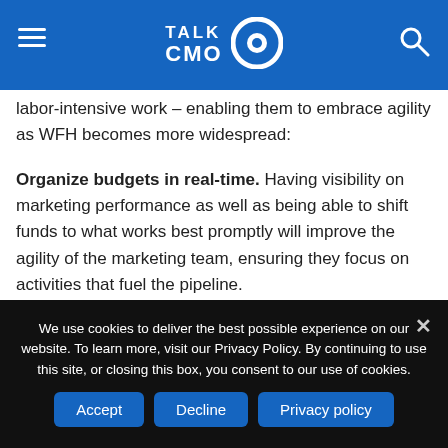TALK CMO
labor-intensive work – enabling them to embrace agility as WFH becomes more widespread:
Organize budgets in real-time. Having visibility on marketing performance as well as being able to shift funds to what works best promptly will improve the agility of the marketing team, ensuring they focus on activities that fuel the pipeline.
Manage campaigns on the fly. With automated campaign planning and AI-based recommendations, new marketing
We use cookies to deliver the best possible experience on our website. To learn more, visit our Privacy Policy. By continuing to use this site, or closing this box, you consent to our use of cookies.